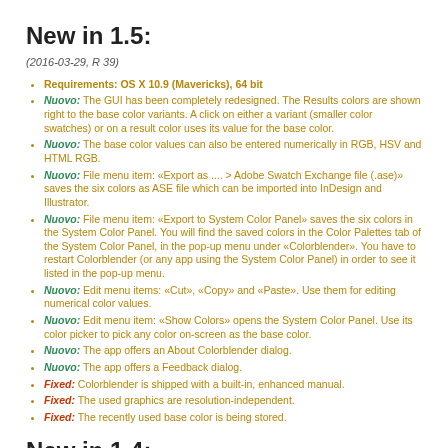New in 1.5:
(2016-03-29, R 39)
Requirements: OS X 10.9 (Mavericks), 64 bit
Nuovo: The GUI has been completely redesigned. The Results colors are shown right to the base color variants. A click on either a variant (smaller color swatches) or on a result color uses its value for the base color.
Nuovo: The base color values can also be entered numerically in RGB, HSV and HTML RGB.
Nuovo: File menu item: «Export as .... > Adobe Swatch Exchange file (.ase)» saves the six colors as ASE file which can be imported into InDesign and Illustrator.
Nuovo: File menu item: «Export to System Color Panel» saves the six colors in the System Color Panel. You will find the saved colors in the Color Palettes tab of the System Color Panel, in the pop-up menu under «Colorblender». You have to restart Colorblender (or any app using the System Color Panel) in order to see it listed in the pop-up menu.
Nuovo: Edit menu items: «Cut», «Copy» and «Paste». Use them for editing numerical color values.
Nuovo: Edit menu item: «Show Colors» opens the System Color Panel. Use its color picker to pick any color on-screen as the base color.
Nuovo: The app offers an About Colorblender dialog.
Nuovo: The app offers a Feedback dialog.
Fixed: Colorblender is shipped with a built-in, enhanced manual.
Fixed: The used graphics are resolution-independent.
Fixed: The recently used base color is being stored.
New in 1.4: